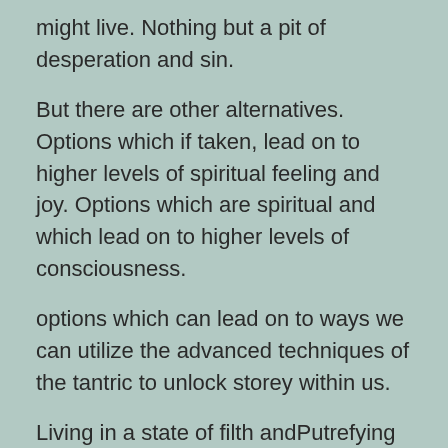might live. Nothing but a pit of desperation and sin.
But there are other alternatives. Options which if taken, lead on to higher levels of spiritual feeling and joy. Options which are spiritual and which lead on to higher levels of consciousness.
options which can lead on to ways we can utilize the advanced techniques of the tantric to unlock storey within us.
Living in a state of filth andPutrefying all things